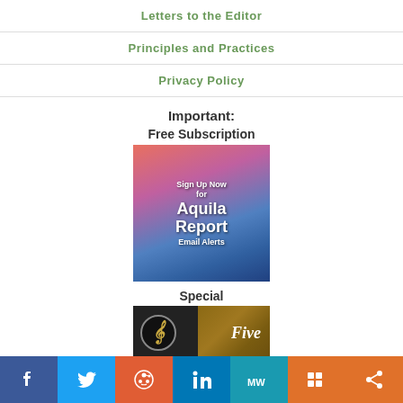Letters to the Editor
Principles and Practices
Privacy Policy
Important:
Free Subscription
[Figure (illustration): Sign Up Now for Aquila Report Email Alerts banner with mountain sunset background]
Special
[Figure (illustration): Five - music app or publication logo with musical note on dark background and wood texture]
[Figure (infographic): Social sharing bar with Facebook, Twitter, Reddit, LinkedIn, MeWe, Mix, and share buttons]